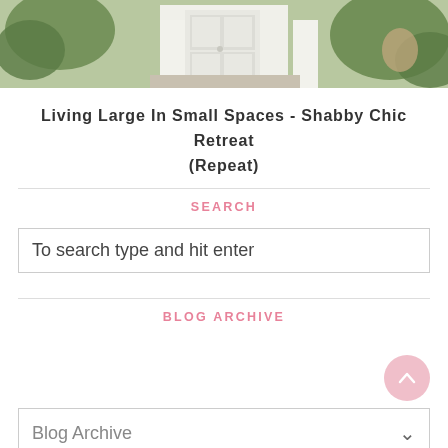[Figure (photo): Exterior photo of a white shabby chic cottage door with greenery and decorative fencing]
Living Large In Small Spaces - Shabby Chic Retreat (Repeat)
SEARCH
To search type and hit enter
BLOG ARCHIVE
Blog Archive